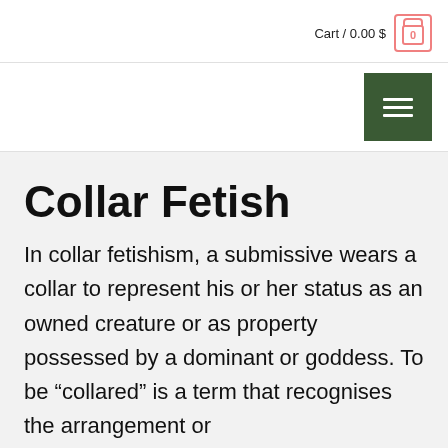Cart / 0.00 $
Collar Fetish
In collar fetishism, a submissive wears a collar to represent his or her status as an owned creature or as property possessed by a dominant or goddess. To be “collared” is a term that recognises the arrangement or